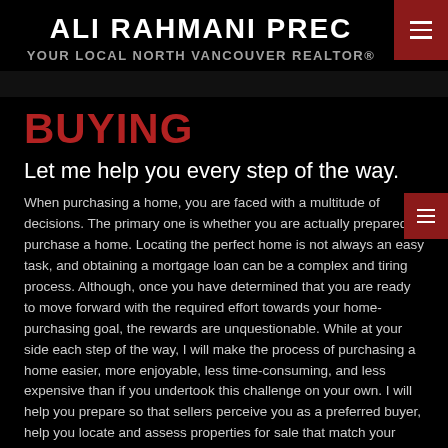ALI RAHMANI PREC
YOUR LOCAL NORTH VANCOUVER REALTOR®
BUYING
Let me help you every step of the way.
When purchasing a home, you are faced with a multitude of decisions. The primary one is whether you are actually prepared to purchase a home. Locating the perfect home is not always an easy task, and obtaining a mortgage loan can be a complex and tiring process. Although, once you have determined that you are ready to move forward with the required effort towards your home-purchasing goal, the rewards are unquestionable. While at your side each step of the way, I will make the process of purchasing a home easier, more enjoyable, less time-consuming, and less expensive than if you undertook this challenge on your own. I will help you prepare so that sellers perceive you as a preferred buyer, help you locate and assess properties for sale that match your specifications, and help you through the myriad of details attending the actual